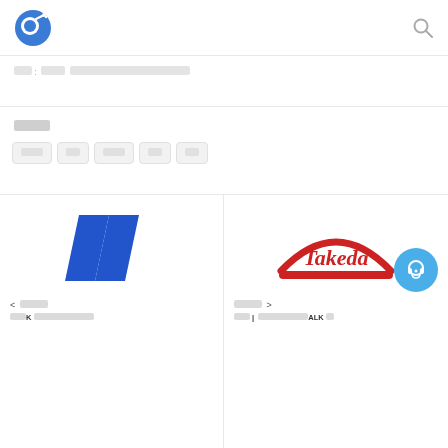[App header with logo and search icon]
[Breadcrumb navigation in Chinese]
[Related section label in Chinese]
[Tag 1] [Tag 2] [Tag 3] [Tag 4] [Tag 5]
[Figure (logo): Blue double-slash corporate logo (left card)]
< [Prev article] [Chinese title with K]
[Figure (logo): Takeda pharmaceutical red arc logo (right card)]
[Next article] > [Chinese title mentioning ALK]